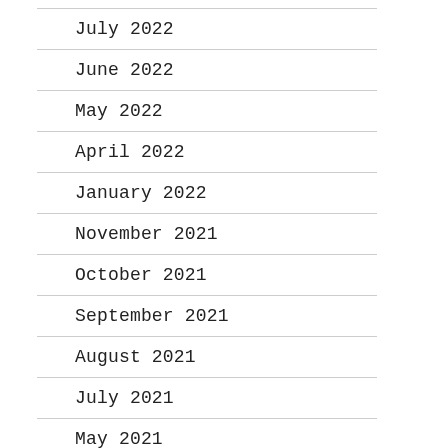July 2022
June 2022
May 2022
April 2022
January 2022
November 2021
October 2021
September 2021
August 2021
July 2021
May 2021